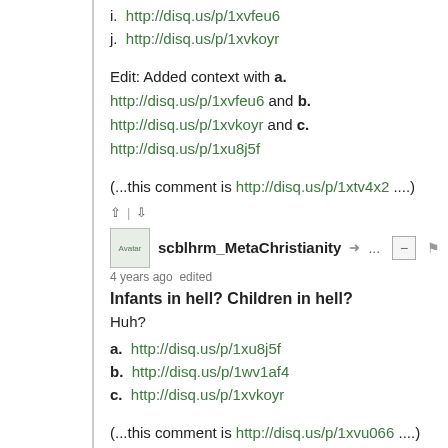i. http://disq.us/p/1xvfeu6
j. http://disq.us/p/1xvkoyr
Edit: Added context with a. http://disq.us/p/1xvfeu6 and b. http://disq.us/p/1xvkoyr and c. http://disq.us/p/1xu8j5f
(...this comment is http://disq.us/p/1xtv4x2 ....)
scblhrm_MetaChristianity → ... 4 years ago edited
Infants in hell? Children in hell?
Huh?
a. http://disq.us/p/1xu8j5f
b. http://disq.us/p/1wv1af4
c. http://disq.us/p/1xvkoyr
(...this comment is http://disq.us/p/1xvu066 ....)
scblhrm_MetaChristianity →